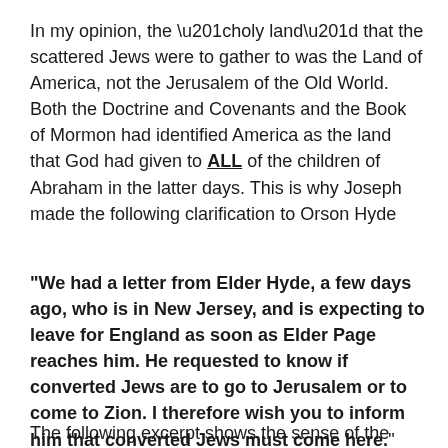In my opinion, the “holy land” that the scattered Jews were to gather to was the Land of America, not the Jerusalem of the Old World. Both the Doctrine and Covenants and the Book of Mormon had identified America as the land that God had given to ALL of the children of Abraham in the latter days. This is why Joseph made the following clarification to Orson Hyde
“We had a letter from Elder Hyde, a few days ago, who is in New Jersey, and is expecting to leave for England as soon as Elder Page reaches him. He requested to know if converted Jews are to go to Jerusalem or to come to Zion. I therefore wish you to inform him that converted Jews must come here.” (HC 4:231 approx October 1840)
The following excerpt shows the sense of the Doctrine and